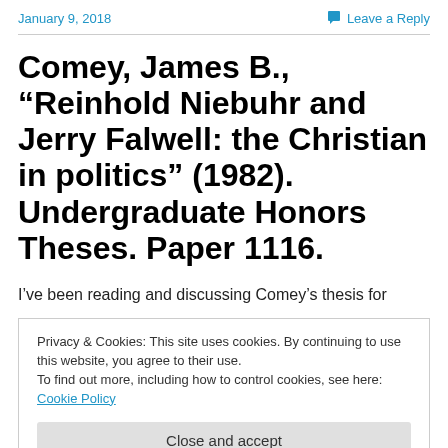January 9, 2018    Leave a Reply
Comey, James B., “Reinhold Niebuhr and Jerry Falwell: the Christian in politics” (1982). Undergraduate Honors Theses. Paper 1116.
I’ve been reading and discussing Comey’s thesis for
Privacy & Cookies: This site uses cookies. By continuing to use this website, you agree to their use. To find out more, including how to control cookies, see here: Cookie Policy
Close and accept